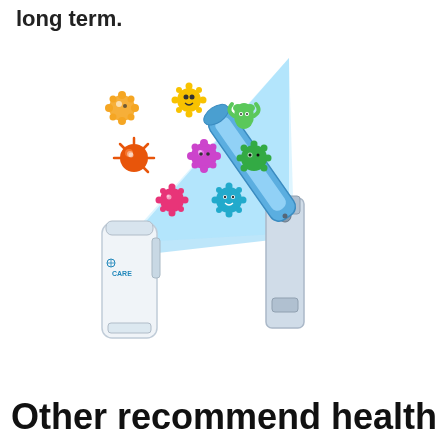long term.
[Figure (illustration): A UV-C sanitizer wand device shown open/unfolded emitting a blue UV light beam that kills colorful cartoon germ/bacteria icons, alongside the device shown closed in its white case with 'CARE' branding]
Other recommend health